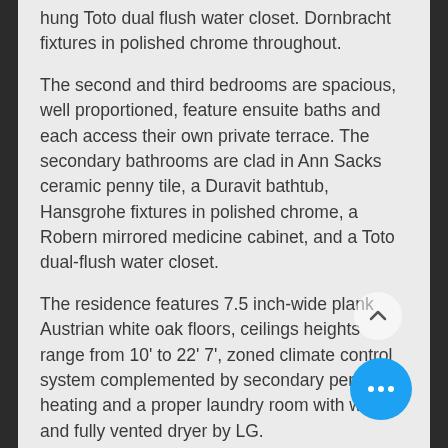hung Toto dual flush water closet. Dornbracht fixtures in polished chrome throughout.
The second and third bedrooms are spacious, well proportioned, feature ensuite baths and each access their own private terrace. The secondary bathrooms are clad in Ann Sacks ceramic penny tile, a Duravit bathtub, Hansgrohe fixtures in polished chrome, a Robern mirrored medicine cabinet, and a Toto dual-flush water closet.
The residence features 7.5 inch-wide plank Austrian white oak floors, ceilings heights range from 10' to 22' 7', zoned climate control system complemented by secondary perimeter heating and a proper laundry room with washer and fully vented dryer by LG.
BUILDING
Doorman